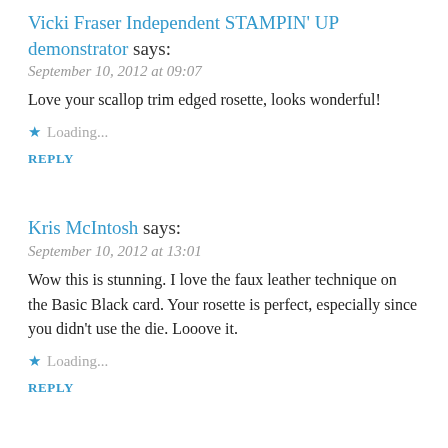Vicki Fraser Independent STAMPIN' UP demonstrator says:
September 10, 2012 at 09:07
Love your scallop trim edged rosette, looks wonderful!
Loading...
REPLY
Kris McIntosh says:
September 10, 2012 at 13:01
Wow this is stunning. I love the faux leather technique on the Basic Black card. Your rosette is perfect, especially since you didn't use the die. Looove it.
Loading...
REPLY